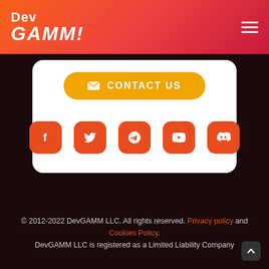[Figure (logo): DevGAMM logo — white text on orange-red gradient header, with hamburger menu icon on right]
[Figure (infographic): Orange rounded 'CONTACT US' button with envelope icon, and five social media icons (Facebook, Twitter, Telegram, YouTube, Discord) in orange rounded squares on a white card]
© 2012-2022 DevGAMM LLC. All rights reserved. Privacy policy and Cookies Policy.
DevGAMM LLC is registered as a Limited Liability Company